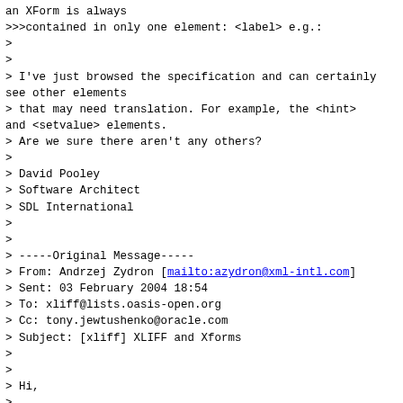an XForm is always
>>>contained in only one element: <label> e.g.:
>
>
> I've just browsed the specification and can certainly see other elements
> that may need translation. For example, the <hint> and <setvalue> elements.
> Are we sure there aren't any others?
>
> David Pooley
> Software Architect
> SDL International
>
>
> -----Original Message-----
> From: Andrzej Zydron [mailto:azydron@xml-intl.com]
> Sent: 03 February 2004 18:54
> To: xliff@lists.oasis-open.org
> Cc: tony.jewtushenko@oracle.com
> Subject: [xliff] XLIFF and Xforms
>
>
> Hi,
>
> In response to the request from Tony to take a look at XForms and its
> potential representation in XLIFF:
>
> 1) XForms is an official W3C recommendation. The full